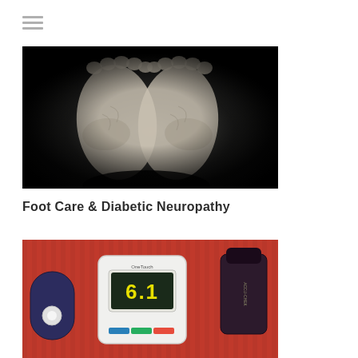≡
[Figure (photo): Black and white photograph of the soles of two human feet raised upward against a dark background]
Foot Care & Diabetic Neuropathy
[Figure (photo): Color photograph of a blood glucose meter showing reading of 6.1, with a lancet device and glucose strip container on a red striped background]